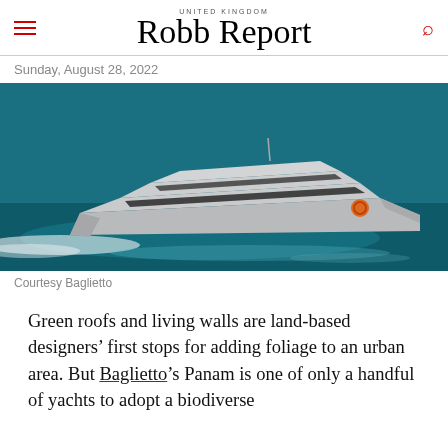Robb Report — UNITED KINGDOM
Sunday, August 28, 2022
[Figure (photo): Aerial/side view of a sleek grey Baglietto Panam superyacht speeding through turquoise water, leaving white wake.]
Courtesy Baglietto
Green roofs and living walls are land-based designers' first stops for adding foliage to an urban area. But Baglietto's Panam is one of only a handful of yachts to adopt a biodiverse